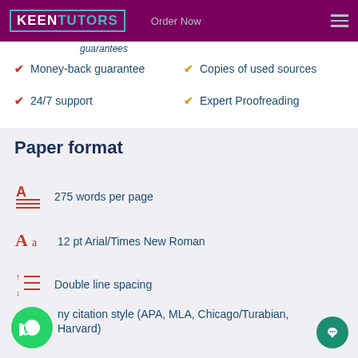KEEN TUTORS — Order Now
guarantees (partial, cut off at top)
Money-back guarantee
24/7 support
Copies of used sources
Expert Proofreading
Paper format
275 words per page
12 pt Arial/Times New Roman
Double line spacing
Any citation style (APA, MLA, Chicago/Turabian, Harvard)